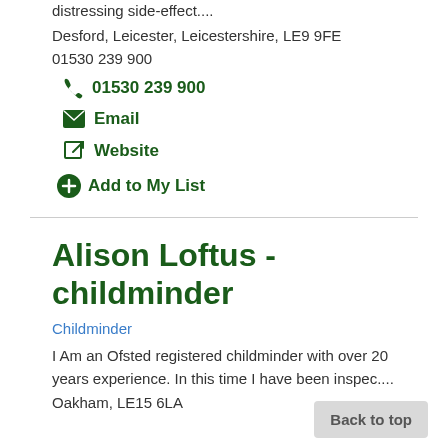distressing side-effect....
Desford, Leicester, Leicestershire, LE9 9FE
01530 239 900
📞 01530 239 900
✉ Email
🔗 Website
⊕ Add to My List
Alison Loftus - childminder
Childminder
I Am an Ofsted registered childminder with over 20 years experience. In this time I have been inspec....
Oakham, LE15 6LA
Back to top